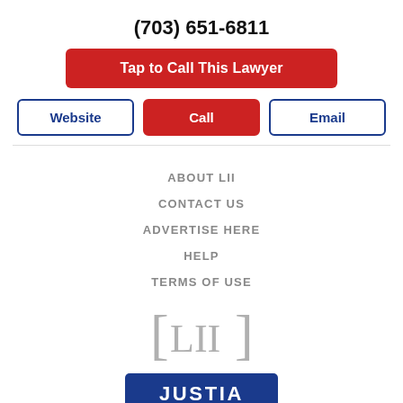(703) 651-6811
Tap to Call This Lawyer
Website
Call
Email
ABOUT LII
CONTACT US
ADVERTISE HERE
HELP
TERMS OF USE
[Figure (logo): LII logo in brackets — [LII]]
[Figure (logo): Justia logo — dark blue rectangle with white bold text JUSTIA]